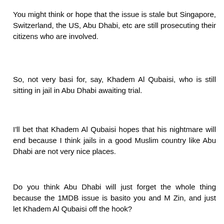You might think or hope that the issue is stale but Singapore, Switzerland, the US, Abu Dhabi, etc are still prosecuting their citizens who are involved.
So, not very basi for, say, Khadem Al Qubaisi, who is still sitting in jail in Abu Dhabi awaiting trial.
I'll bet that Khadem Al Qubaisi hopes that his nightmare will end because I think jails in a good Muslim country like Abu Dhabi are not very nice places.
Do you think Abu Dhabi will just forget the whole thing because the 1MDB issue is basito you and M Zin, and just let Khadem Al Qubaisi off the hook?
I find it strange that people like you and M Zin find nothing wrong with the fact that only